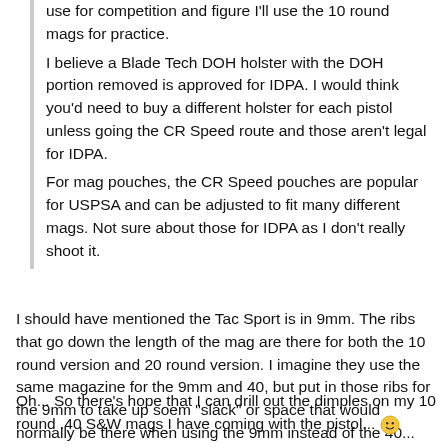use for competition and figure I'll use the 10 round mags for practice.
I believe a Blade Tech DOH holster with the DOH portion removed is approved for IDPA. I would think you'd need to buy a different holster for each pistol unless going the CR Speed route and those aren't legal for IDPA.
For mag pouches, the CR Speed pouches are popular for USPSA and can be adjusted to fit many different mags. Not sure about those for IDPA as I don't really shoot it.
I should have mentioned the Tac Sport is in 9mm. The ribs that go down the length of the mag are there for both the 10 round version and 20 round version. I imagine they use the same magazine for the 9mm and 40, but put in those ribs for the 9mm to take up soem "slack" or space that would normally be there when using the 9mm instead of the 40...
Oh... So there's hope that I can drill out the dimples on my 10 round .40 S&W mags I have coming with the pistol...